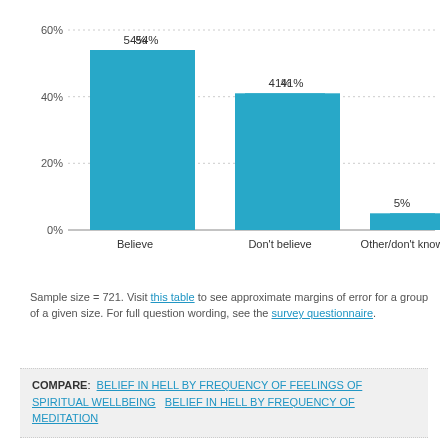[Figure (bar-chart): ]
Sample size = 721. Visit this table to see approximate margins of error for a group of a given size. For full question wording, see the survey questionnaire.
COMPARE: BELIEF IN HELL BY FREQUENCY OF FEELINGS OF SPIRITUAL WELLBEING   BELIEF IN HELL BY FREQUENCY OF MEDITATION